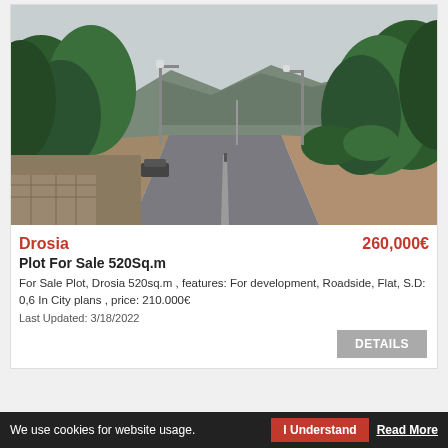[Figure (photo): Street photo of a tree-lined road in Drosia, Greece, with mountains in the background]
Drosia                                              260,000€
Plot For Sale 520Sq.m
For Sale Plot, Drosia 520sq.m , features: For development, Roadside, Flat, S.D: 0,6 In City plans ,  price: 210.000€
Last Updated: 3/18/2022
DETAILS
We use cookies for website usage.   I Understand   Read More